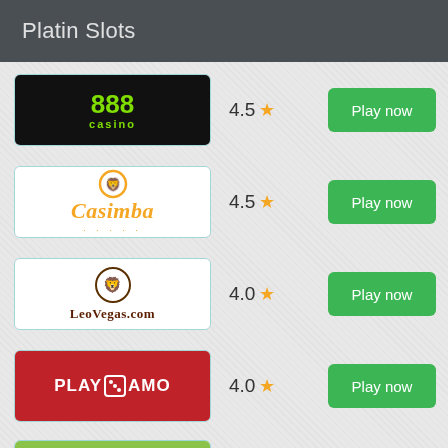Platin Slots
[Figure (logo): 888 Casino logo - black background with green 888 text and 'casino' below]
4.5 ★
Play now
[Figure (logo): Casimba casino logo - orange chip icon with Casimba italic text]
4.5 ★
Play now
[Figure (logo): LeoVegas.com logo - lion circle icon with LeoVegas.com text]
4.0 ★
Play now
[Figure (logo): PlayAmo casino logo - red background with PLAY dice AMO text]
4.0 ★
Play now
[Figure (logo): 5th casino logo - green/yellow background, partially visible]
4.0 ★
Play now